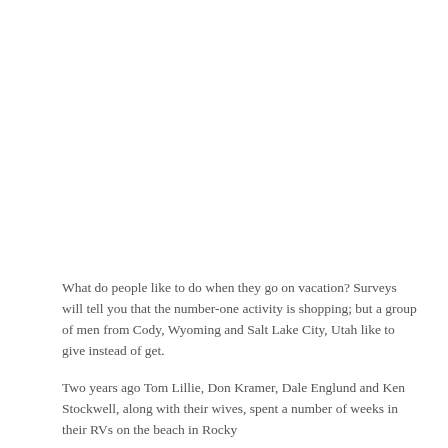[Figure (photo): Blank white image area at the top of the page]
What do people like to do when they go on vacation? Surveys will tell you that the number-one activity is shopping; but a group of men from Cody, Wyoming and Salt Lake City, Utah like to give instead of get.
Two years ago Tom Lillie, Don Kramer, Dale Englund and Ken Stockwell, along with their wives, spent a number of weeks in their RVs on the beach in Rocky